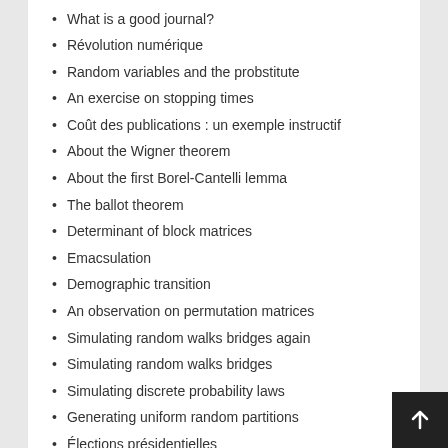What is a good journal?
Révolution numérique
Random variables and the probstitute
An exercise on stopping times
Coût des publications : un exemple instructif
About the Wigner theorem
About the first Borel-Cantelli lemma
The ballot theorem
Determinant of block matrices
Emacsulation
Demographic transition
An observation on permutation matrices
Simulating random walks bridges again
Simulating random walks bridges
Simulating discrete probability laws
Generating uniform random partitions
Élections présidentielles
Bosons and fermions
Algorithms